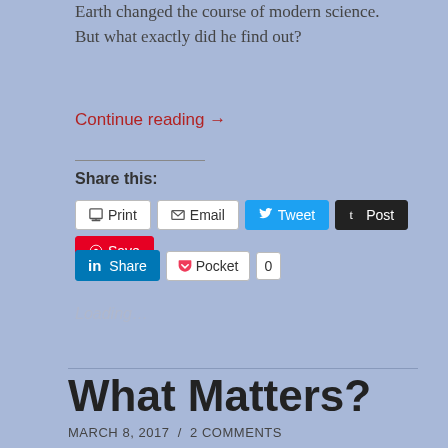Earth changed the course of modern science. But what exactly did he find out?
Continue reading →
Share this:
Print  Email  Tweet  Post  Save  Share  Pocket  0
Loading…
What Matters?
MARCH 8, 2017 / 2 COMMENTS